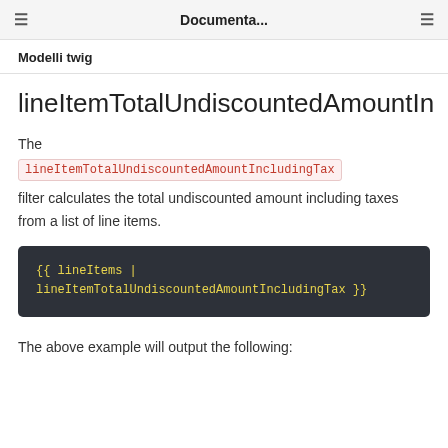≡  Documenta...  ≡
Modelli twig
lineItemTotalUndiscountedAmountIn
The lineItemTotalUndiscountedAmountIncludingTax filter calculates the total undiscounted amount including taxes from a list of line items.
{{ lineItems | lineItemTotalUndiscountedAmountIncludingTax }}
The above example will output the following: